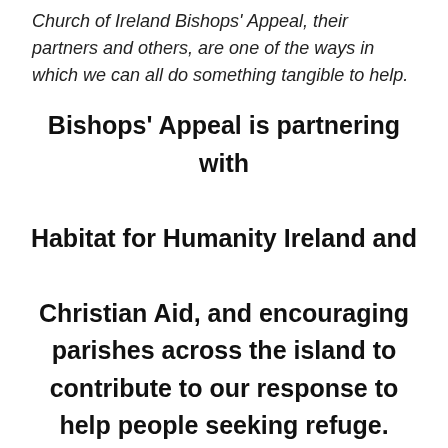Church of Ireland Bishops' Appeal, their partners and others, are one of the ways in which we can all do something tangible to help.
Bishops' Appeal is partnering with Habitat for Humanity Ireland and Christian Aid, and encouraging parishes across the island to contribute to our response to help people seeking refuge.
[Figure (logo): Bishops' Appeal logo — a stylized purple and white hourglass/chalice shaped emblem with concentric rectangular borders in shades of purple and white]